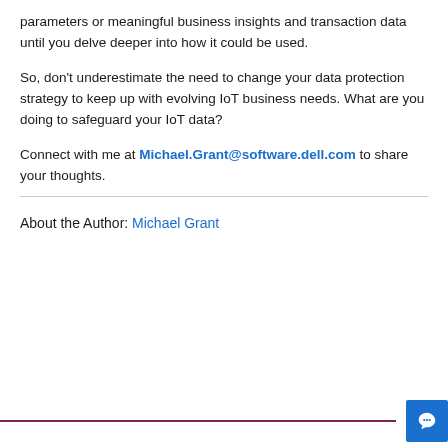parameters or meaningful business insights and transaction data until you delve deeper into how it could be used.
So, don't underestimate the need to change your data protection strategy to keep up with evolving IoT business needs. What are you doing to safeguard your IoT data?
Connect with me at Michael.Grant@software.dell.com to share your thoughts.
About the Author: Michael Grant